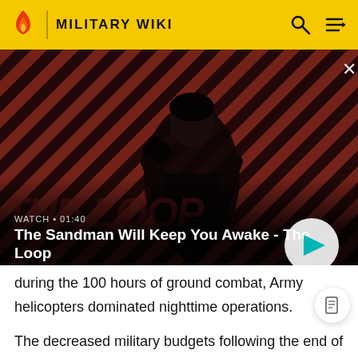MILITARY WIKI
[Figure (screenshot): Video thumbnail showing a dark-clad figure with a black bird on shoulder against a red and black diagonal stripe background. Title overlay reads 'The Sandman Will Keep You Awake - The Loop' with WATCH • 01:40 label and a play button.]
during the 100 hours of ground combat, Army helicopters dominated nighttime operations.
The decreased military budgets following the end of the Cold War forced both the Army and Army Aviation to downsize. Army Aviation's response was to develop the